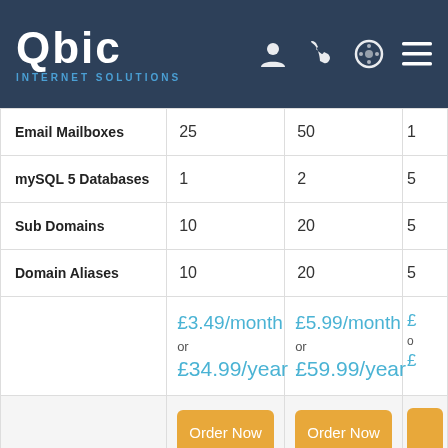Qbic Internet Solutions navigation bar
| Feature | Plan 1 | Plan 2 | Plan 3 |
| --- | --- | --- | --- |
| Email Mailboxes | 25 | 50 | 1... |
| mySQL 5 Databases | 1 | 2 | 5... |
| Sub Domains | 10 | 20 | 5... |
| Domain Aliases | 10 | 20 | 5... |
|  | £3.49/month or £34.99/year | £5.99/month or £59.99/year | £... |
|  | Order Now | Order Now | Order Now |